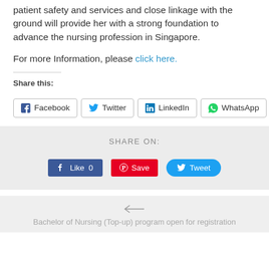patient safety and services and close linkage with the ground will provide her with a strong foundation to advance the nursing profession in Singapore.
For more Information, please click here.
Share this:
[Figure (infographic): Row of social share buttons: Facebook, Twitter, LinkedIn, WhatsApp, More]
[Figure (infographic): Share On section with Facebook Like (0), Pinterest Save, and Tweet buttons]
← Bachelor of Nursing (Top-up) program open for registration